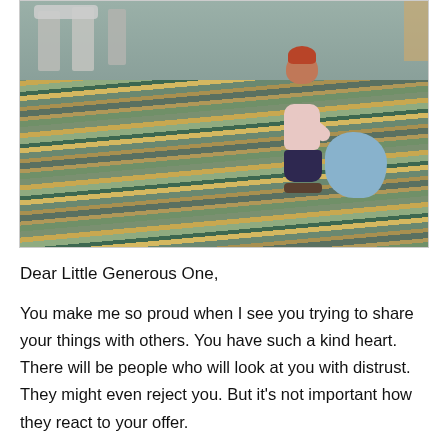[Figure (photo): Overhead/aerial view of a toddler with red hair wearing a pink top and dark patterned pants, standing on a colorful striped floor in what appears to be a library or play area, reaching out with one arm toward a blue bean-bag stool. Chairs and furniture are visible in the background.]
Dear Little Generous One,
You make me so proud when I see you trying to share your things with others. You have such a kind heart. There will be people who will look at you with distrust. They might even reject you. But it's not important how they react to your offer.